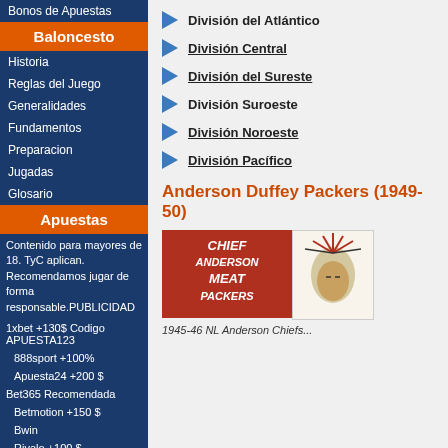Bonos de Apuestas
Baloncesto
Historia
Reglas del Juego
Generalidades
Fundamentos
Preparacion
Jugadas
Glosario
Apuestas
Contenido para mayores de 18. TyC aplican. Recomendamos jugar de forma responsable.PUBLICIDAD
1xbet +130$ Codigo APUESTA123
888sport +100%
Apuesta24 +200 $
Bet365 Recomendada
Betmotion +150 $
Bwin
Rivalo +100 $
William Hill +100$
LAT100
División del Atlántico
División Central
División del Sureste
División Suroeste
División Noroeste
División Pacífico
Anderson Duffey Packers (1949-50)
[Figure (photo): Two images side by side: left is a red logo reading CHIEF ANDERSON MEAT PACKERS in white italic letters; right is an illustrated Native American chief head in red and black with text ANDERSON PACKERS vertically on the right.]
1945-46 NL Anderson Chiefs...